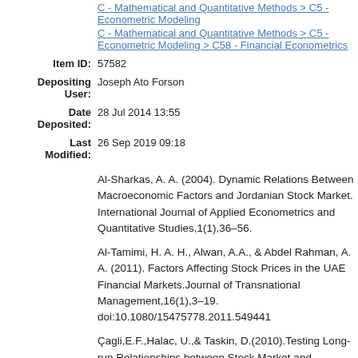C - Mathematical and Quantitative Methods > C5 - Econometric Modeling
C - Mathematical and Quantitative Methods > C5 - Econometric Modeling > C58 - Financial Econometrics
Item ID: 57582
Depositing User: Joseph Ato Forson
Date Deposited: 28 Jul 2014 13:55
Last Modified: 26 Sep 2019 09:18
Al-Sharkas, A. A. (2004). Dynamic Relations Between Macroeconomic Factors and Jordanian Stock Market. International Journal of Applied Econometrics and Quantitative Studies,1(1),36–56.
Al-Tamimi, H. A. H., Alwan, A.A., & Abdel Rahman, A. A. (2011). Factors Affecting Stock Prices in the UAE Financial Markets.Journal of Transnational Management,16(1),3–19. doi:10.1080/15475778.2011.549441
Çagli,E.F.,Halac, U.,& Taskin, D.(2010).Testing Long-run Relationships between Stock Market and Macroeconomics Variables in the Presence of Structural Breaks:Turkish Case.International Research Journal of Finance and Economics,(48), 234–266.
Chan,N.N.,Roll, R.,& Ross, S.A.(1986).Economic forces and...